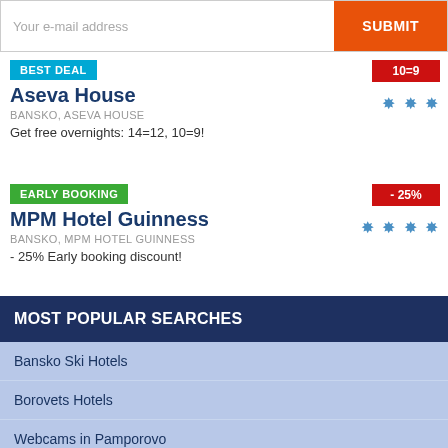Your e-mail address
SUBMIT
BEST DEAL
10=9
Aseva House
BANSKO, ASEVA HOUSE
Get free overnights: 14=12, 10=9!
EARLY BOOKING
- 25%
MPM Hotel Guinness
BANSKO, MPM HOTEL GUINNESS
- 25% Early booking discount!
MOST POPULAR SEARCHES
Bansko Ski Hotels
Borovets Hotels
Webcams in Pamporovo
Hotels in Pamporovo
Discussion Board